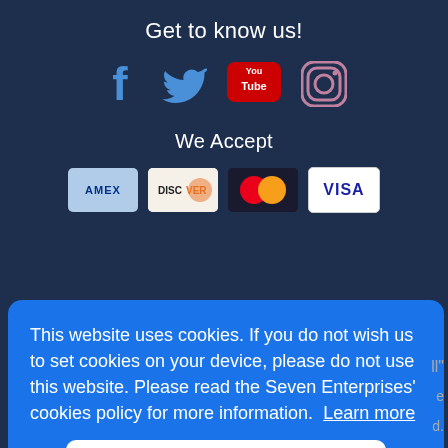Get to know us!
[Figure (infographic): Social media icons: Facebook, Twitter, YouTube, Instagram]
We Accept
[Figure (infographic): Payment method icons: AMEX, Discover, Mastercard, Visa]
[Figure (illustration): Authorize.Net Verified Merchant Click badge]
This website uses cookies. If you do not wish us to set cookies on your device, please do not use this website. Please read the Seven Enterprises' cookies policy for more information. Learn more
Got it!